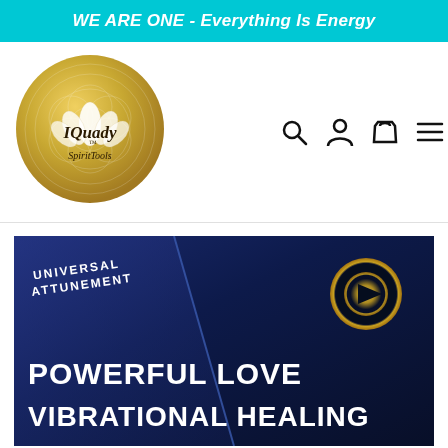WE ARE ONE - Everything Is Energy
[Figure (logo): IQuady SpiritTools circular gold logo with lotus flower design and geometric pattern]
[Figure (other): Navigation icons: search (magnifying glass), account (person), cart (shopping bag), menu (hamburger)]
[Figure (illustration): Dark blue hero banner with diagonal stripe, 'UNIVERSAL ATTUNEMENT' text top-left, gold YouTube play button circle top-right, and bold white text reading 'POWERFUL LOVE VIBRATIONAL HEALING']